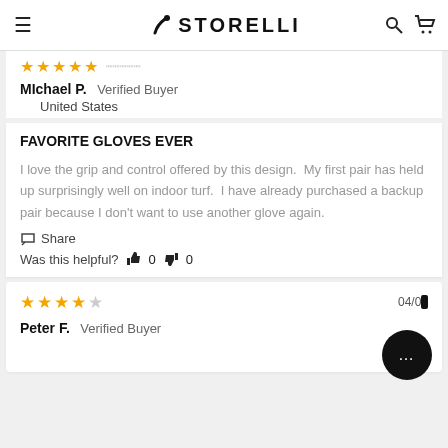STORELLI
Michael P.  Verified Buyer
United States
FAVORITE GLOVES EVER
I love the grip and control offered by this design.  My first pair has held up surprisingly well on indoor turf.  I have already purchased a backup pair because I don't want to use another glove again.
Share
Was this helpful?  0  0
Peter F.  Verified Buyer  04/0...